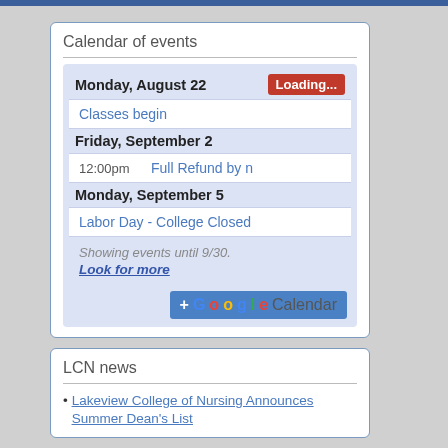Calendar of events
Monday, August 22
Loading...
Classes begin
Friday, September 2
12:00pm  Full Refund by n
Monday, September 5
Labor Day - College Closed
Showing events until 9/30. Look for more
[Figure (logo): Add to Google Calendar button]
LCN news
Lakeview College of Nursing Announces Summer Dean's List